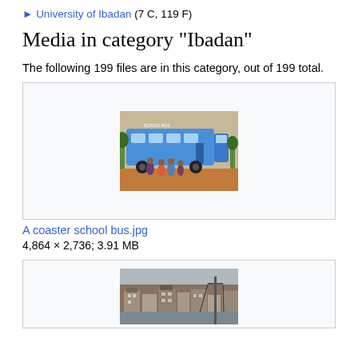▶ University of Ibadan (7 C, 119 F)
Media in category "Ibadan"
The following 199 files are in this category, out of 199 total.
[Figure (photo): A coaster school bus with children standing in front on a dirt road]
A coaster school bus.jpg
4,864 × 2,736; 3.91 MB
[Figure (photo): Aerial/elevated view of Ibadan city with rooftops and street scene]